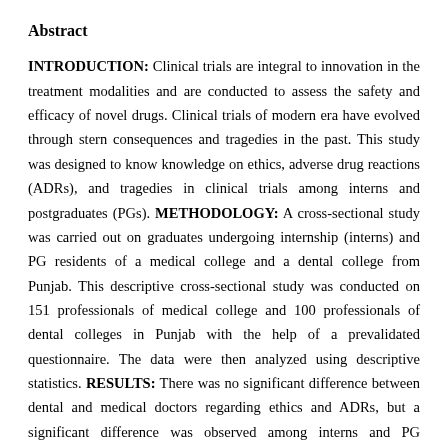Abstract
INTRODUCTION: Clinical trials are integral to innovation in the treatment modalities and are conducted to assess the safety and efficacy of novel drugs. Clinical trials of modern era have evolved through stern consequences and tragedies in the past. This study was designed to know knowledge on ethics, adverse drug reactions (ADRs), and tragedies in clinical trials among interns and postgraduates (PGs). METHODOLOGY: A cross-sectional study was carried out on graduates undergoing internship (interns) and PG residents of a medical college and a dental college from Punjab. This descriptive cross-sectional study was conducted on 151 professionals of medical college and 100 professionals of dental colleges in Punjab with the help of a prevalidated questionnaire. The data were then analyzed using descriptive statistics. RESULTS: There was no significant difference between dental and medical doctors regarding ethics and ADRs, but a significant difference was observed among interns and PG residents, with interns having higher awareness regarding ethics and ADRs. There was no significant difference (P = 0.941) in knowledge among dental and medical doctors as well as among interns and PG residents, with P = 0.264 about tragedies in clinical trials. CONCLUSION: From the study, it can be concluded that